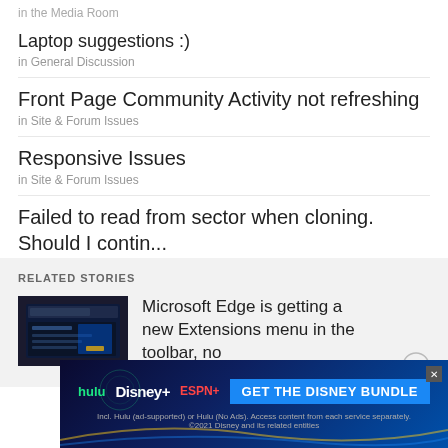in the Media Room
Laptop suggestions :)
in General Discussion
Front Page Community Activity not refreshing
in Site & Forum Issues
Responsive Issues
in Site & Forum Issues
Failed to read from sector when cloning. Should I contin...
in Hardware Hangout
RELATED STORIES
Microsoft Edge is getting a new Extensions menu in the toolbar, no...
available for Insiders
[Figure (screenshot): Dark screenshot thumbnail of Microsoft Edge browser]
[Figure (infographic): Hulu Disney+ ESPN+ Get The Disney Bundle advertisement banner]